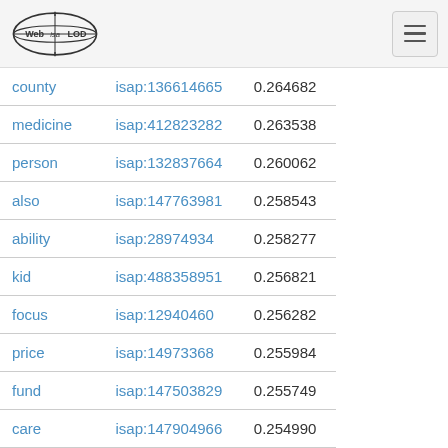Web isa LOD [logo]
| word | isap id | score |
| --- | --- | --- |
| county | isap:136614665 | 0.264682 |
| medicine | isap:412823282 | 0.263538 |
| person | isap:132837664 | 0.260062 |
| also | isap:147763981 | 0.258543 |
| ability | isap:28974934 | 0.258277 |
| kid | isap:488358951 | 0.256821 |
| focus | isap:12940460 | 0.256282 |
| price | isap:14973368 | 0.255984 |
| fund | isap:147503829 | 0.255749 |
| care | isap:147904966 | 0.254990 |
| biggest problem | isap:24715116 | 0.251184 |